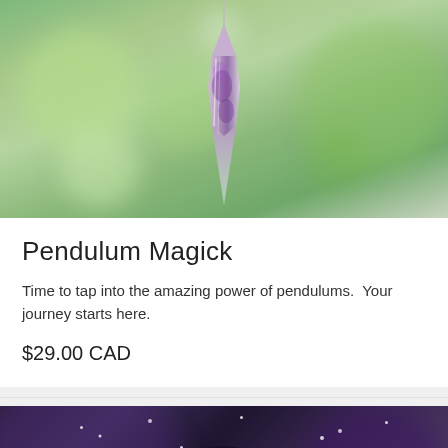[Figure (photo): Amethyst crystal pendulum hanging against a blurred green bokeh background]
Pendulum Magick
Time to tap into the amazing power of pendulums.  Your journey starts here.
$29.00 CAD
[Figure (photo): Mystical woman with dark hair and floral crown leaning over a glowing crystal ball against a dark starry background]